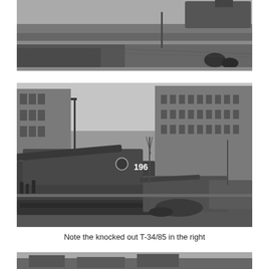[Figure (photo): Black and white photograph showing a street scene with military tanks on a road, debris visible, taken from above angle]
[Figure (photo): Black and white photograph of a knocked-out ISU-152 or similar Soviet self-propelled gun numbered '196' on a city street in Budapest, with apartment buildings lining both sides and a damaged T-34/85 visible to the right, 1956 Hungarian Revolution]
Note the knocked out T-34/85 in the right
[Figure (photo): Black and white photograph partially visible at the bottom of the page showing another street scene with military vehicles]